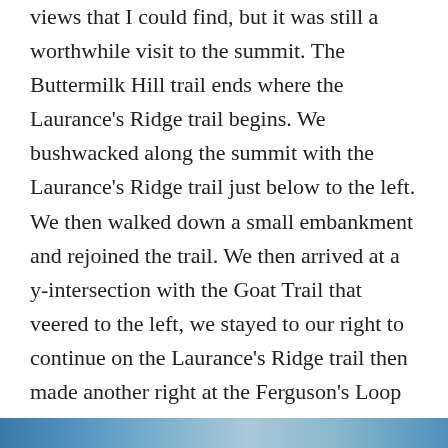views that I could find, but it was still a worthwhile visit to the summit. The Buttermilk Hill trail ends where the Laurance's Ridge trail begins. We bushwacked along the summit with the Laurance's Ridge trail just below to the left. We then walked down a small embankment and rejoined the trail. We then arrived at a y-intersection with the Goat Trail that veered to the left, we stayed to our right to continue on the Laurance's Ridge trail then made another right at the Ferguson's Loop trail a few feet ahead. We stayed straight and were now walking on what is listed on the map in several places as “RF” which are the Rockefeller Family trails. They are connector trails that run through or by private property and hikers are permitted to use them. Off to the right was a private home with a few barking dogs. They also had a teepee sitting close to the trail.
[Figure (photo): Partial view of a photo at the bottom of the page, showing what appears to be an outdoor/nature scene with blue and teal colors visible.]